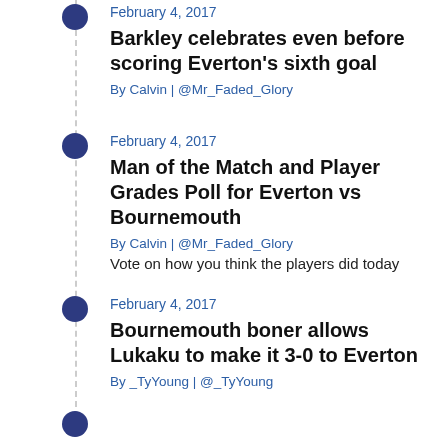February 4, 2017
Barkley celebrates even before scoring Everton's sixth goal
By Calvin | @Mr_Faded_Glory
February 4, 2017
Man of the Match and Player Grades Poll for Everton vs Bournemouth
By Calvin | @Mr_Faded_Glory
Vote on how you think the players did today
February 4, 2017
Bournemouth boner allows Lukaku to make it 3-0 to Everton
By _TyYoung | @_TyYoung